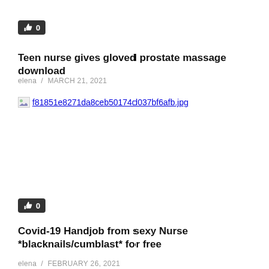[Figure (other): Like/thumbs-up badge showing count 0]
Teen nurse gives gloved prostate massage download
elena  /  MARCH 21, 2021
[Figure (photo): Broken image placeholder with filename f81851e8271da8ceb50174d037bf6afb.jpg]
[Figure (other): Like/thumbs-up badge showing count 0]
Covid-19 Handjob from sexy Nurse *blacknails/cumblast* for free
elena  /  FEBRUARY 26, 2021